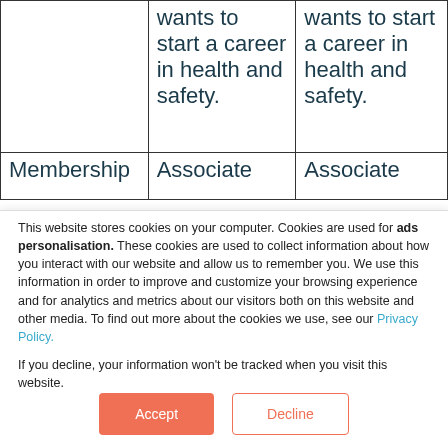|  | wants to start a career in health and safety. | wants to start a career in health and safety. |
| Membership | Associate | Associate |
This website stores cookies on your computer. Cookies are used for ads personalisation. These cookies are used to collect information about how you interact with our website and allow us to remember you. We use this information in order to improve and customize your browsing experience and for analytics and metrics about our visitors both on this website and other media. To find out more about the cookies we use, see our Privacy Policy.

If you decline, your information won't be tracked when you visit this website.